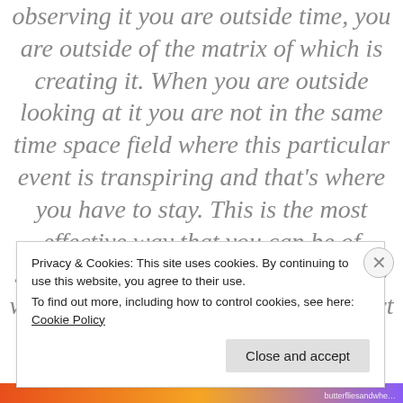…kind. It is watching a movie. When observing it you are outside time, you are outside of the matrix of which is creating it. When you are outside looking at it you are not in the same time space field where this particular event is transpiring and that's where you have to stay. This is the most effective way that you can be of support. The second that you identify with the movie and you become a part of the movie you can get hurt. This means…
Privacy & Cookies: This site uses cookies. By continuing to use this website, you agree to their use. To find out more, including how to control cookies, see here: Cookie Policy